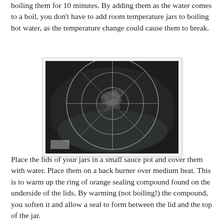boiling them for 10 minutes. By adding them as the water comes to a boil, you don't have to add room temperature jars to boiling hot water, as the temperature change could cause them to break.
[Figure (photo): A wire canning rack with broken/cracked glass jars viewed from above inside a large pot]
Place the lids of your jars in a small sauce pot and cover them with water. Place them on a back burner over medium heat. This is to warm up the ring of orange sealing compound found on the underside of the lids. By warming (not boiling!) the compound, you soften it and allow a seal to form between the lid and the top of the jar.